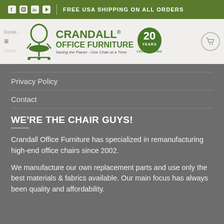FREE USA SHIPPING ON ALL ORDERS
[Figure (logo): Crandall Office Furniture logo with office chair icon, '20 Years Celebrating' badge, tagline 'Saving the Planet - One Chair at a Time']
Privacy Policy
Contact
WE'RE THE CHAIR GUYS!
Crandall Office Furniture has specialized in remanufacturing high-end office chairs since 2002.
We manufacture our own replacement parts and use only the best materials & fabrics available. Our main focus has always been quality and affordability.